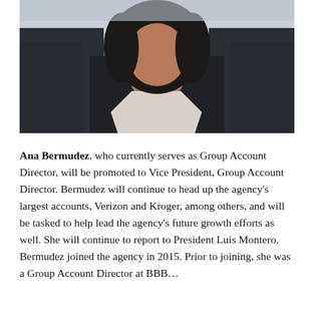[Figure (photo): A headshot photograph of Ana Bermudez, a woman with dark hair, wearing a dark jacket, photographed from roughly the shoulders up against a light background.]
Ana Bermudez, who currently serves as Group Account Director, will be promoted to Vice President, Group Account Director. Bermudez will continue to head up the agency's largest accounts, Verizon and Kroger, among others, and will be tasked to help lead the agency's future growth efforts as well. She will continue to report to President Luis Montero. Bermudez joined the agency in 2015. Prior to joining, she was a Group Account Director at...